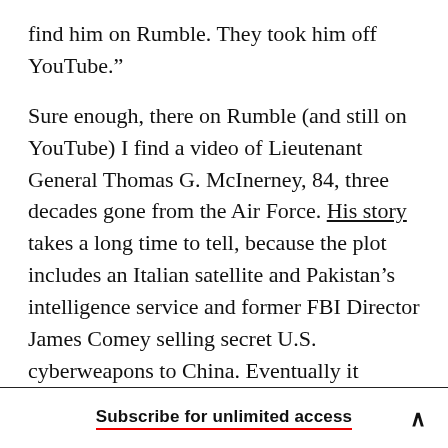find him on Rumble. They took him off YouTube."

Sure enough, there on Rumble (and still on YouTube) I find a video of Lieutenant General Thomas G. McInerney, 84, three decades gone from the Air Force. His story takes a long time to tell, because the plot includes an Italian satellite and Pakistan's intelligence service and former FBI Director James Comey selling secret U.S. cyberweapons to China. Eventually it emerges that “Special Forces mixed with antifa” combined to invade the seat of Congress on January 6 and then blame the invasion on Trump supporters, with the
Subscribe for unlimited access